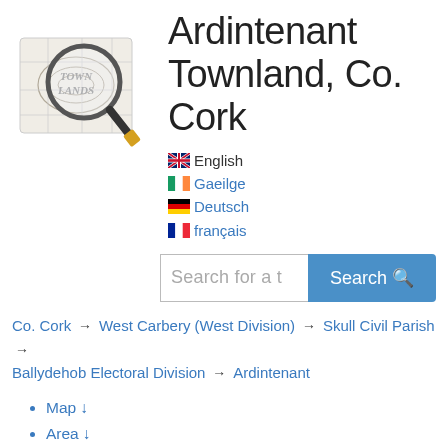[Figure (logo): Town Lands logo with magnifying glass over an old map]
Ardintenant Townland, Co. Cork
English
Gaeilge
Deutsch
français
Co. Cork → West Carbery (West Division) → Skull Civil Parish → Ballydehob Electoral Division → Ardintenant
Map ↓
Area ↓
Bordering Townlands ↓
Subtownlands ↓
Records Search ↓